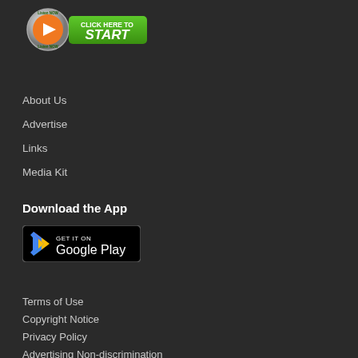[Figure (logo): Listen Now / Click Here to Start button with orange play icon and green banner]
About Us
Advertise
Links
Media Kit
Download the App
[Figure (logo): Get it on Google Play store badge, black background with Google Play logo and text]
Terms of Use
Copyright Notice
Privacy Policy
Advertising Non-discrimination
FCC Applications
EEO Report